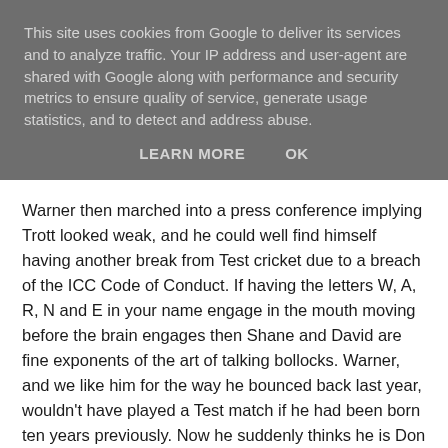This site uses cookies from Google to deliver its services and to analyze traffic. Your IP address and user-agent are shared with Google along with performance and security metrics to ensure quality of service, generate usage statistics, and to detect and address abuse.
LEARN MORE    OK
Warner then marched into a press conference implying Trott looked weak, and he could well find himself having another break from Test cricket due to a breach of the ICC Code of Conduct. If having the letters W, A, R, N and E in your name engage in the mouth moving before the brain engages then Shane and David are fine exponents of the art of talking bollocks. Warner, and we like him for the way he bounced back last year, wouldn't have played a Test match if he had been born ten years previously. Now he suddenly thinks he is Don Bradman, although I think it is part of a deliberate campaign to intimidate England whilst over there.